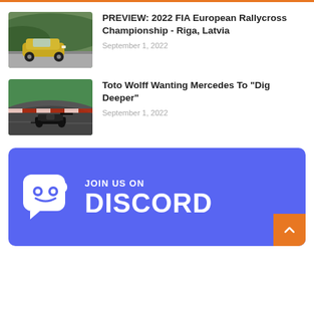PREVIEW: 2022 FIA European Rallycross Championship - Riga, Latvia
September 1, 2022
Toto Wolff Wanting Mercedes To "Dig Deeper"
September 1, 2022
[Figure (infographic): Join us on Discord promotional banner with Discord logo on blue background]